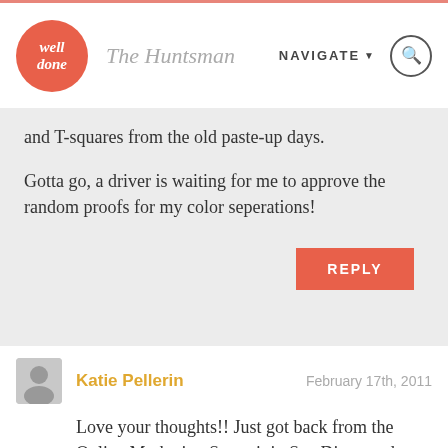The Huntsman — well done — NAVIGATE
and T-squares from the old paste-up days.

Gotta go, a driver is waiting for me to approve the random proofs for my color seperations!
REPLY
Katie Pellerin   February 17th, 2011
Love your thoughts!! Just got back from the Online Marketing Summit in San Diego and there were maybe 20 lap tops in the 1,000 people crowd. Things are certainly *changing* very